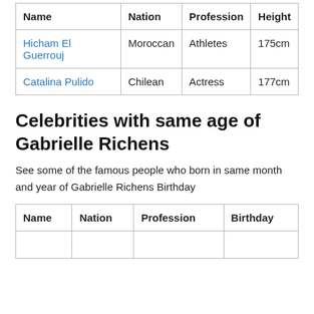| Name | Nation | Profession | Height |
| --- | --- | --- | --- |
| Hicham El Guerrouj | Moroccan | Athletes | 175cm |
| Catalina Pulido | Chilean | Actress | 177cm |
Celebrities with same age of Gabrielle Richens
See some of the famous people who born in same month and year of Gabrielle Richens Birthday
| Name | Nation | Profession | Birthday |
| --- | --- | --- | --- |